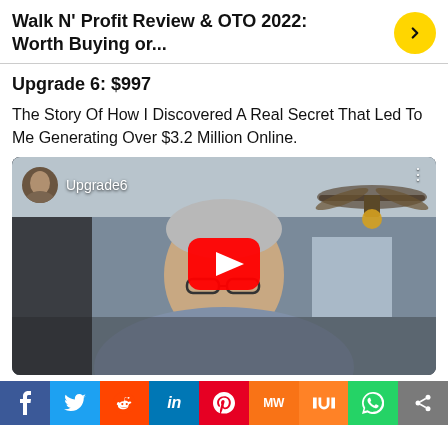Walk N' Profit Review & OTO 2022: Worth Buying or...
Upgrade 6: $997
The Story Of How I Discovered A Real Secret That Led To Me Generating Over $3.2 Million Online.
[Figure (screenshot): YouTube video thumbnail showing a man in a grey shirt with glasses, ceiling fan visible in background. Video is labeled 'Upgrade6' with a YouTube play button overlay.]
Social share bar: Facebook, Twitter, Reddit, LinkedIn, Pinterest, MiloWrite, Mix, WhatsApp, Share